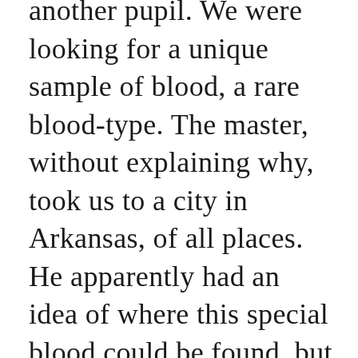another pupil. We were looking for a unique sample of blood, a rare blood-type. The master, without explaining why, took us to a city in Arkansas, of all places. He apparently had an idea of where this special blood could be found, but led us to an abandoned building. The master